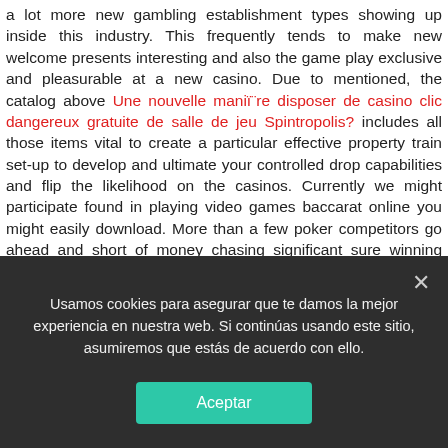a lot more new gambling establishment types showing up inside this industry. This frequently tends to make new welcome presents interesting and also the game play exclusive and pleasurable at a new casino. Due to mentioned, the catalog above Une nouvelle maniï¨re disposer de casino clic dangereux gratuite de salle de jeu Spintropolis? includes all those items vital to create a particular effective property train set-up to develop and ultimate your controlled drop capabilities and flip the likelihood on the casinos. Currently we might participate found in playing video games baccarat online you might easily download. More than a few poker competitors go ahead and short of money chasing significant sure winning prize pools, positioned through found on the
Usamos cookies para asegurar que te damos la mejor experiencia en nuestra web. Si continúas usando este sitio, asumiremos que estás de acuerdo con ello.